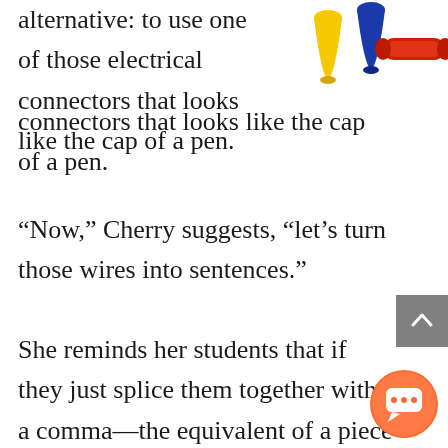[Figure (photo): Colorful electrical wire connectors: yellow cone-shaped, blue cone-shaped, and red cylindrical butt connector on white background]
alternative: to use one of those electrical connectors that looks like the cap of a pen.
“Now,” Cherry suggests, “let’s turn those wires into sentences.”
She reminds her students that if they just splice them together with a comma—the equivalent of a piece of tape—it creates a weak connection, or a comma splice er